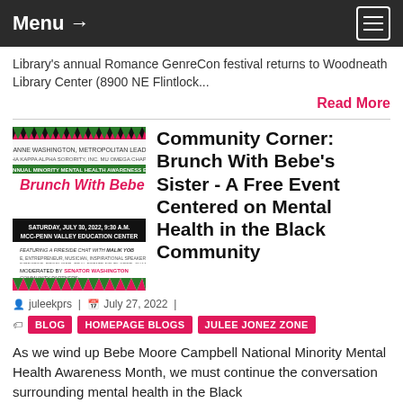Menu →
Library's annual Romance GenreCon festival returns to Woodneath Library Center (8900 NE Flintlock...
Read More
[Figure (photo): Event flyer for Brunch With Bebe's Sister, Saturday July 30 2022, 9:30 AM, MCC-Penn Valley Education Center]
Community Corner: Brunch With Bebe's Sister - A Free Event Centered on Mental Health in the Black Community
juleekprs | July 27, 2022 |
BLOG
HOMEPAGE BLOGS
JULEE JONEZ ZONE
As we wind up Bebe Moore Campbell National Minority Mental Health Awareness Month, we must continue the conversation surrounding mental health in the Black